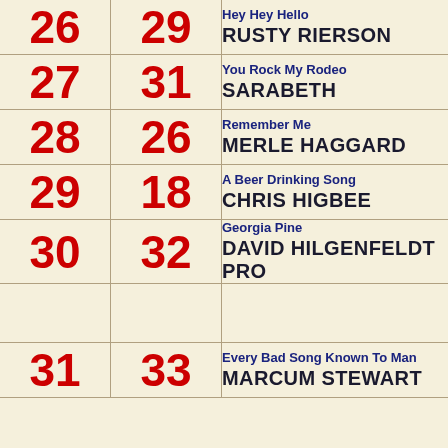| Rank | Prev | Song / Artist |
| --- | --- | --- |
| 26 | 29 | Hey Hey Hello / RUSTY RIERSON |
| 27 | 31 | You Rock My Rodeo / SARABETH |
| 28 | 26 | Remember Me / MERLE HAGGARD |
| 29 | 18 | A Beer Drinking Song / CHRIS HIGBEE |
| 30 | 32 | Georgia Pine / DAVID HILGENFELDT PRO |
|  |  |  |
| 31 | 33 | Every Bad Song Known To Man / MARCUM STEWART |